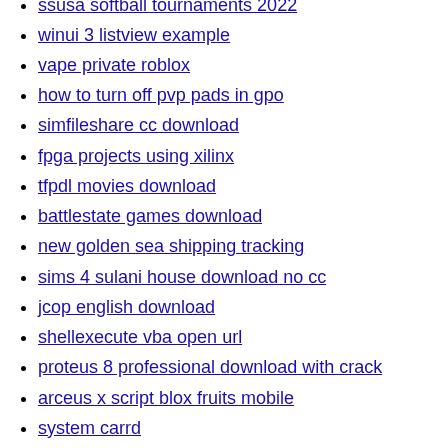ssusa softball tournaments 2022
winui 3 listview example
vape private roblox
how to turn off pvp pads in gpo
simfileshare cc download
fpga projects using xilinx
tfpdl movies download
battlestate games download
new golden sea shipping tracking
sims 4 sulani house download no cc
jcop english download
shellexecute vba open url
proteus 8 professional download with crack
arceus x script blox fruits mobile
system carrd
sena howard gura
naomi judd death photos
tiny green monster machine price
black templar codex pdf 2021
tiddlywiki empty
soundgasm yato
rvz file to wbfs
jim woolsey sbn
noclip bypass script
selective catalytic reduction